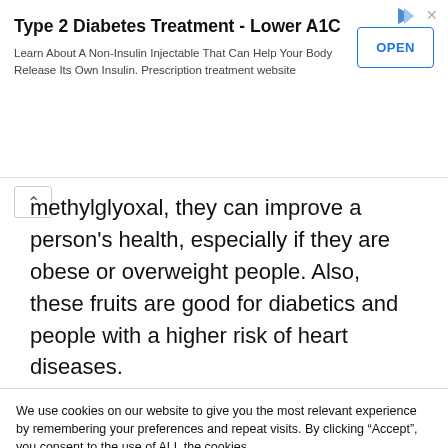[Figure (other): Advertisement banner: 'Type 2 Diabetes Treatment - Lower A1C' with OPEN button, ad icon and close button]
methylglyoxal, they can improve a person's health, especially if they are obese or overweight people. Also, these fruits are good for diabetics and people with a higher risk of heart diseases.
We use cookies on our website to give you the most relevant experience by remembering your preferences and repeat visits. By clicking “Accept”, you consent to the use of ALL the cookies.
Cookie settings   ACCEPT